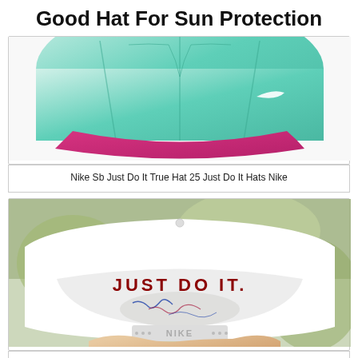Good Hat For Sun Protection
[Figure (photo): Nike SB Just Do It True Hat - mint green and pink two-tone snapback cap with Nike swoosh logo on white background]
Nike Sb Just Do It True Hat 25 Just Do It Hats Nike
[Figure (photo): Vintage rare OG Nike Just Do It Snapback hat interior view showing 'JUST DO IT.' text embroidered in red on white cap with signatures/writing inside brim, Nike logo on strap, person holding the hat outdoors]
Vintage Rare Og Nike Just Do It Snapback Nike Vintage Nike Nike Accessories